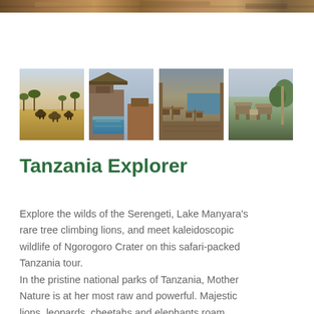[Figure (photo): Partial top strip of a safari/landscape photo cropped at top of page]
[Figure (photo): Row of four safari/lodge thumbnail photos: 1) Herd of animals on savanna, 2) Infinity pool at lodge with rocky landscape, 3) Outdoor dining area with chairs and tables, 4) Outdoor seating area with chairs and green landscape]
Tanzania Explorer
Explore the wilds of the Serengeti,  Lake  Manyara's rare tree climbing lions, and meet kaleidoscopic wildlife of  Ngorogoro Crater on this safari-packed Tanzania tour.
In the pristine national parks of Tanzania,  Mother Nature is at her most raw and powerful.  Majestic lions, leopards, cheetahs and elephants roam